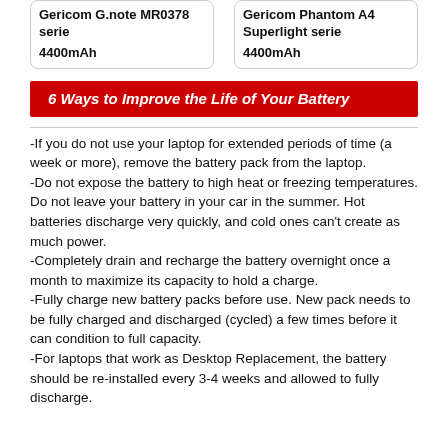Gericom G.note MR0378 serie
4400mAh
Gericom Phantom A4 Superlight serie
4400mAh
6 Ways to Improve the Life of Your Battery
-If you do not use your laptop for extended periods of time (a week or more), remove the battery pack from the laptop.
-Do not expose the battery to high heat or freezing temperatures. Do not leave your battery in your car in the summer. Hot batteries discharge very quickly, and cold ones can't create as much power.
-Completely drain and recharge the battery overnight once a month to maximize its capacity to hold a charge.
-Fully charge new battery packs before use. New pack needs to be fully charged and discharged (cycled) a few times before it can condition to full capacity.
-For laptops that work as Desktop Replacement, the battery should be re-installed every 3-4 weeks and allowed to fully discharge.